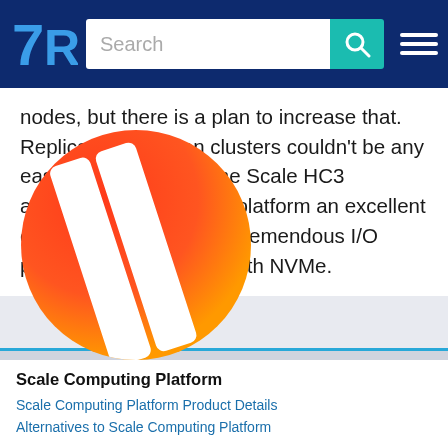TrustRadius — Search bar and navigation
nodes, but there is a plan to increase that. Replication between clusters couldn't be any easier or automatic. The Scale HC3 architecture makes this platform an excellent candidate to exploit the tremendous I/O performance available with NVMe.
[Figure (logo): Scale Computing Platform logo — orange-red circle with two white diagonal slashes]
Scale Computing Platform
Scale Computing Platform Product Details
Alternatives to Scale Computing Platform